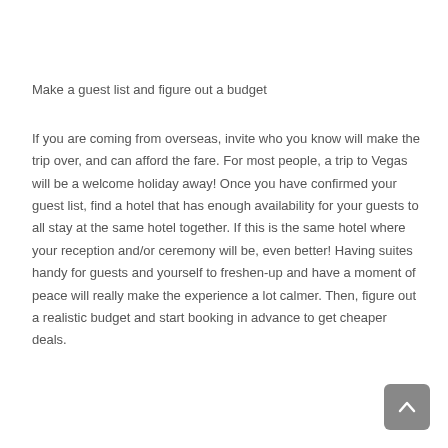Make a guest list and figure out a budget
If you are coming from overseas, invite who you know will make the trip over, and can afford the fare. For most people, a trip to Vegas will be a welcome holiday away! Once you have confirmed your guest list, find a hotel that has enough availability for your guests to all stay at the same hotel together. If this is the same hotel where your reception and/or ceremony will be, even better! Having suites handy for guests and yourself to freshen-up and have a moment of peace will really make the experience a lot calmer. Then, figure out a realistic budget and start booking in advance to get cheaper deals.